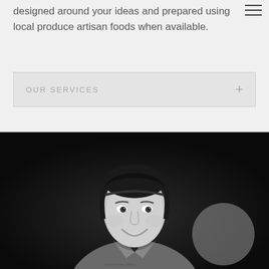designed around your ideas and prepared using local produce artisan foods when available.
OUR SERVICES
[Figure (photo): Black and white portrait photo of a female chef smiling, wearing a chef's jacket, with a circular gray overlay element in the lower right area of the image.]